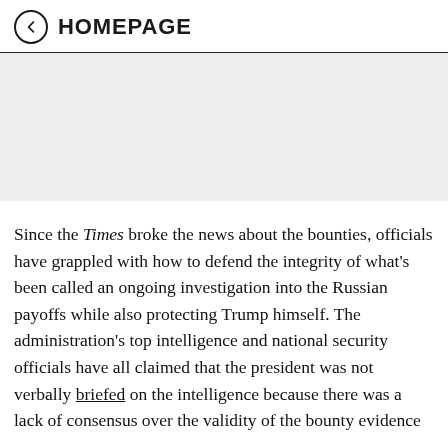HOMEPAGE
[Figure (other): Advertisement placeholder area with light gray background]
Since the Times broke the news about the bounties, officials have grappled with how to defend the integrity of what's been called an ongoing investigation into the Russian payoffs while also protecting Trump himself. The administration's top intelligence and national security officials have all claimed that the president was not verbally briefed on the intelligence because there was a lack of consensus over the validity of the bounty evidence